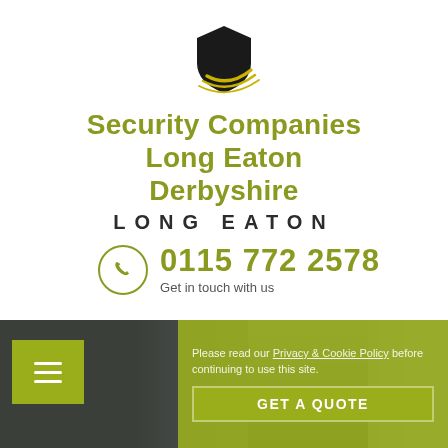[Figure (logo): Shield-shaped security company logo in black with yellow/gold swoosh accent]
Security Companies Long Eaton Derbyshire
LONG EATON
0115 772 2578
Get in touch with us
Please read our Privacy & Cookie Policy before continuing to use this site.
GET A QUOTE
[Figure (photo): Dark navigation bar at bottom with yellow-green hamburger menu button on left and a cookie/quote overlay on the right, person visible in background photo]